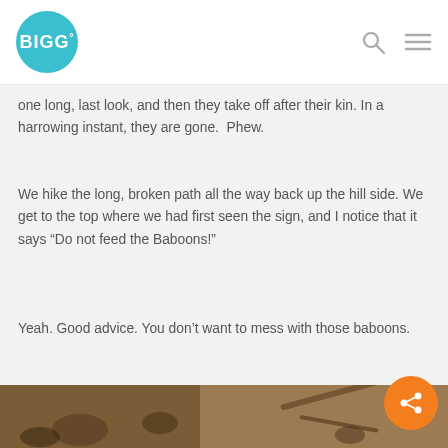BIGG (logo)
one long, last look, and then they take off after their kin. In a harrowing instant, they are gone.  Phew.
We hike the long, broken path all the way back up the hill side. We get to the top where we had first seen the sign, and I notice that it says “Do not feed the Baboons!”
Yeah. Good advice. You don’t want to mess with those baboons.
[Figure (photo): Ground-level photo showing dirt path with stones and a stick or small branch, baboon habitat ground scene]